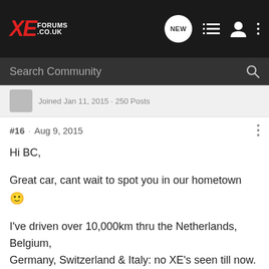XE Forums .co.uk — navigation bar with NEW, list, user, and menu icons
Search Community
Joined Jan 11, 2015 · 250 Posts
#16 · Aug 9, 2015
Hi BC,

Great car, cant wait to spot you in our hometown 🙂

I've driven over 10,000km thru the Netherlands, Belgium, Germany, Switzerland & Italy: no XE's seen till now.

See you soon on the road
Marc